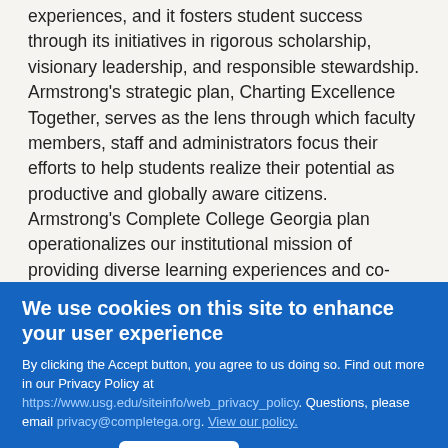experiences, and it fosters student success through its initiatives in rigorous scholarship, visionary leadership, and responsible stewardship. Armstrong's strategic plan, Charting Excellence Together, serves as the lens through which faculty members, staff and administrators focus their efforts to help students realize their potential as productive and globally aware citizens. Armstrong's Complete College Georgia plan operationalizes our institutional mission of providing diverse learning experiences and co-curricular programs that support student success from matriculation through graduation.
Fall 2016 Summary of Student Profile
We use cookies on this site to enhance your user experience
By clicking the Accept button, you agree to us doing so. Find out more in our Privacy Policy at https://www.usg.edu/siteinfo/web_privacy_policy. Questions, please email privacy@completega.org. View our policy.